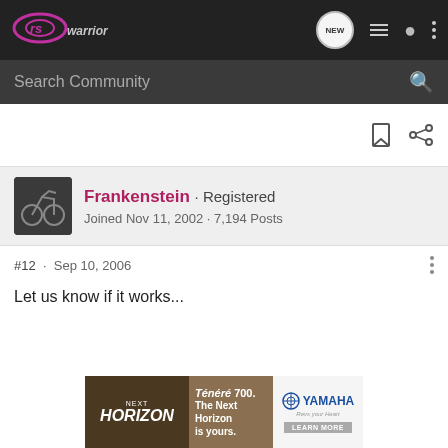[Figure (logo): RS Warrior forum logo in purple/pink on dark background]
Search Community
Frankenstein · Registered
Joined Nov 11, 2002 · 7,194 Posts
#12 · Sep 10, 2006
Let us know if it works...
[Figure (infographic): Yamaha Ténéré 700 advertisement banner: NEXT HORIZON - Ténéré 700. The Next Horizon is yours. LEARN MORE]